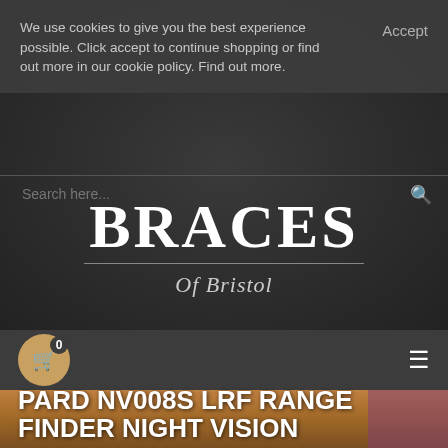We use cookies to give you the best experience possible. Click accept to continue shopping or find out more in our cookie policy. Find out more.
Accept
[Figure (logo): Braces of Bristol logo: large serif BRACES text with horizontal divider and 'Of Bristol' subtitle on dark background]
PARD NV008S LRF RANGE FINDER NIGHT VISION